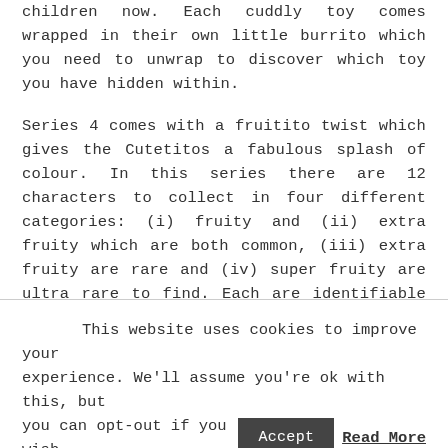children now. Each cuddly toy comes wrapped in their own little burrito which you need to unwrap to discover which toy you have hidden within.
Series 4 comes with a fruitito twist which gives the Cutetitos a fabulous splash of colour. In this series there are 12 characters to collect in four different categories: (i) fruity and (ii) extra fruity which are both common, (iii) extra fruity are rare and (iv) super fruity are ultra rare to find. Each are identifiable by the colour fruit on their bum.
This website uses cookies to improve your experience. We'll assume you're ok with this, but you can opt-out if you wish.